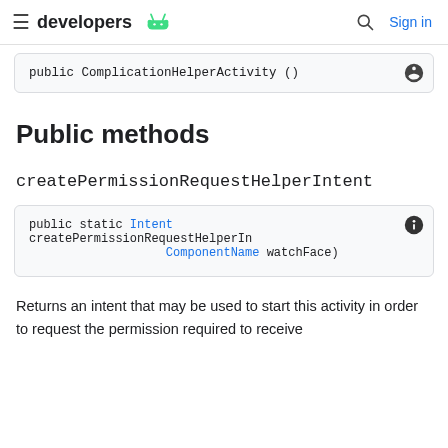developers [android icon] | [search] Sign in
Public methods
createPermissionRequestHelperIntent
Returns an intent that may be used to start this activity in order to request the permission required to receive